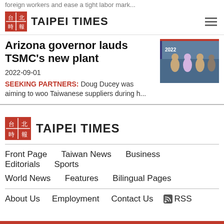foreign workers and ease a tight labor mark...
TAIPEI TIMES
Arizona governor lauds TSMC's new plant
2022-09-01
SEEKING PARTNERS: Doug Ducey was aiming to woo Taiwanese suppliers during h...
[Figure (photo): Photo of people at event with 2022 backdrop banner, wearing masks]
[Figure (logo): Taipei Times footer logo with Chinese characters icon]
Front Page
Taiwan News
Business
Editorials
Sports
World News
Features
Bilingual Pages
About Us
Employment
Contact Us
RSS